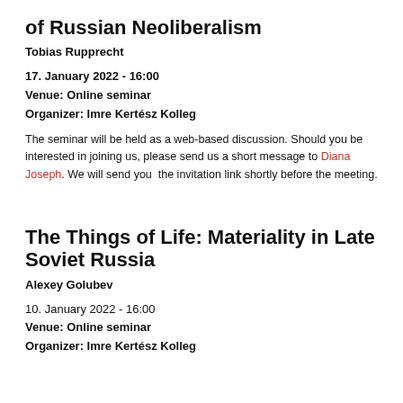of Russian Neoliberalism
Tobias Rupprecht
17. January 2022 - 16:00
Venue: Online seminar
Organizer: Imre Kertész Kolleg
The seminar will be held as a web-based discussion. Should you be interested in joining us, please send us a short message to Diana Joseph. We will send you the invitation link shortly before the meeting.
The Things of Life: Materiality in Late Soviet Russia
Alexey Golubev
10. January 2022 - 16:00
Venue: Online seminar
Organizer: Imre Kertész Kolleg